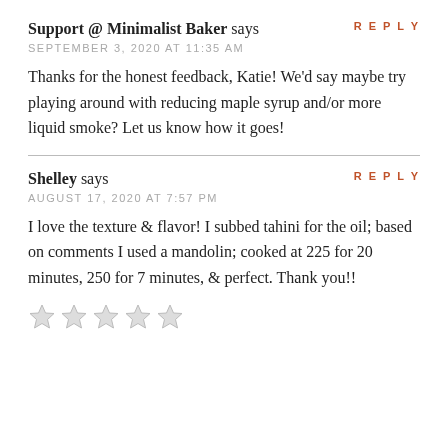REPLY
Support @ Minimalist Baker says
SEPTEMBER 3, 2020 AT 11:35 AM
Thanks for the honest feedback, Katie! We'd say maybe try playing around with reducing maple syrup and/or more liquid smoke? Let us know how it goes!
REPLY
Shelley says
AUGUST 17, 2020 AT 7:57 PM
I love the texture & flavor! I subbed tahini for the oil; based on comments I used a mandolin; cooked at 225 for 20 minutes, 250 for 7 minutes, & perfect. Thank you!!